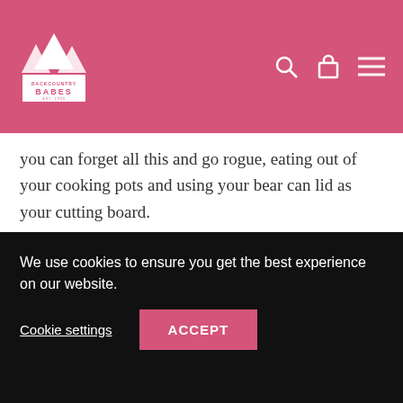Backcountry Babes
you can forget all this and go rogue, eating out of your cooking pots and using your bear can lid as your cutting board.
Coffee: Best thing since sliced bread: reusable, light, nests into your pocket rocket fuel canister: GSI ultralight java drip
Knife: a small multitool with pliers and mini scissors is nice for cutting onions, spreading peanut butter and repairing
We use cookies to ensure you get the best experience on our website.
Cookie settings  ACCEPT